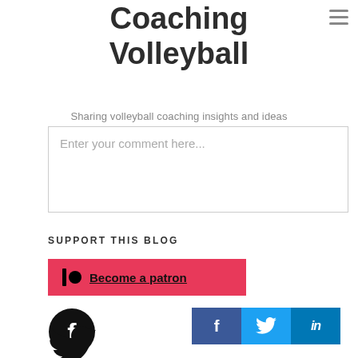Coaching Volleyball
Sharing volleyball coaching insights and ideas
Enter your comment here...
SUPPORT THIS BLOG
Become a patron
[Figure (logo): Facebook logo icon (black circle with F)]
[Figure (logo): Twitter bird logo icon (black)]
[Figure (infographic): Social share buttons: Facebook (dark blue, f), Twitter (light blue, bird), LinkedIn (blue, in)]